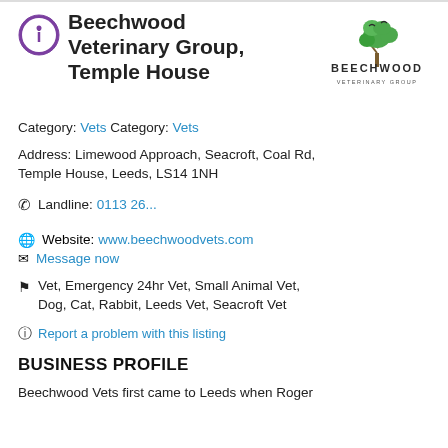Beechwood Veterinary Group, Temple House
[Figure (logo): Beechwood Veterinary Group logo with tree illustration and text]
Category: Vets Category: Vets
Address: Limewood Approach, Seacroft, Coal Rd, Temple House, Leeds, LS14 1NH
Landline: 0113 26...
Website: www.beechwoodvets.com
Message now
Vet, Emergency 24hr Vet, Small Animal Vet, Dog, Cat, Rabbit, Leeds Vet, Seacroft Vet
Report a problem with this listing
BUSINESS PROFILE
Beechwood Vets first came to Leeds when Roger